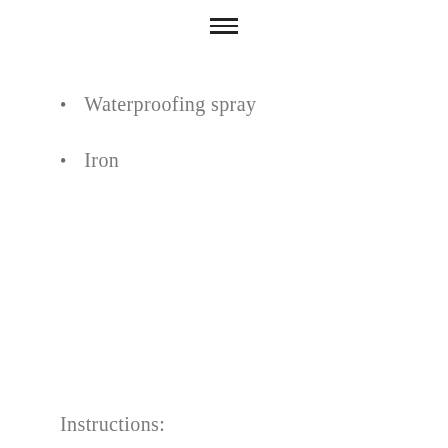Waterproofing spray
Iron
Instructions: